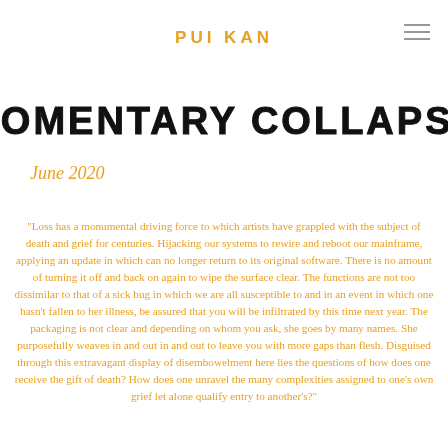PUI KAN
MOMENTARY COLLAPSE
June 2020
"Loss has a monumental driving force to which artists have grappled with the subject of death and grief for centuries. Hijacking our systems to rewire and reboot our mainframe, applying an update in which can no longer return to its original software. There is no amount of turning it off and back on again to wipe the surface clear. The functions are not too dissimilar to that of a sick bug in which we are all susceptible to and in an event in which one hasn't fallen to her illness, be assured that you will be infiltrated by this time next year. The packaging is not clear and depending on whom you ask, she goes by many names. She purposefully weaves in and out in and out to leave you with more gaps than flesh. Disguised through this extravagant display of disembowelment here lies the questions of how does one receive the gift of death? How does one unravel the many complexities assigned to one's own grief let alone qualify entry to another's?"